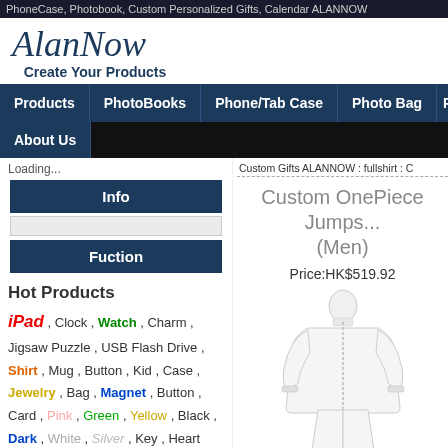PhoneCase, Photobook, Custom Personalized Gifts, Calendar ALANNOW
[Figure (logo): AlanNow logo with italic script font and tagline 'Create Your Products']
Products | PhotoBooks | Phone/Tab Case | Photo Bag | P | About Us
Loading...
Info
Fuction
Hot Products
iPad , Clock , Watch , Charm , Jigsaw Puzzle , USB Flash Drive , Shirt , Mug , Button , Kid , Case , Jewelry , Bag , Magnet , Button , Card , Pink , Green , Yellow , Black , Dark , White , Silver , Key , Heart
Search Product
fullshirt  Go
Custom Gifts ALANNOW : fullshirt : C
Custom OnePiece Jumpsuit (Men)
Price:HK$519.92
[Figure (photo): White one-piece jumpsuit product photo on white background]